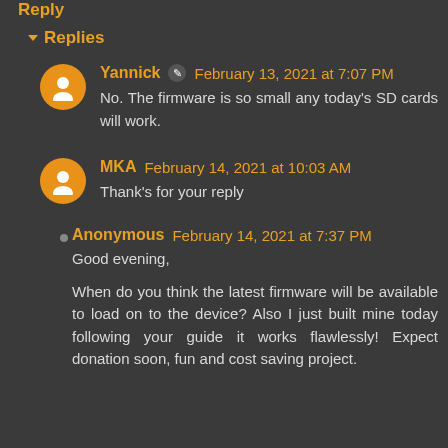Reply
Replies
Yannick  February 13, 2021 at 7:07 PM
No. The firmware is so small any today's SD cards will work.
MKA  February 14, 2021 at 10:03 AM
Thank's for your reply
Anonymous  February 14, 2021 at 7:37 PM
Good evening,

When do you think the latest firmware will be available to load on to the device? Also I just built mine today following your guide it works flawlessly! Expect donation soon, fun and cost saving project.